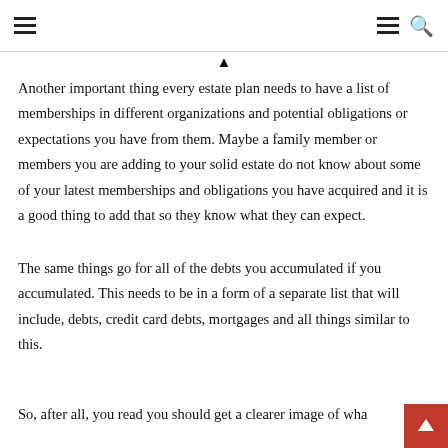Navigation header with hamburger menu and search icon
Another important thing every estate plan needs to have a list of memberships in different organizations and potential obligations or expectations you have from them. Maybe a family member or members you are adding to your solid estate do not know about some of your latest memberships and obligations you have acquired and it is a good thing to add that so they know what they can expect.
The same things go for all of the debts you accumulated if you accumulated. This needs to be in a form of a separate list that will include, debts, credit card debts, mortgages and all things similar to this.
So, after all, you read you should get a clearer image of wha